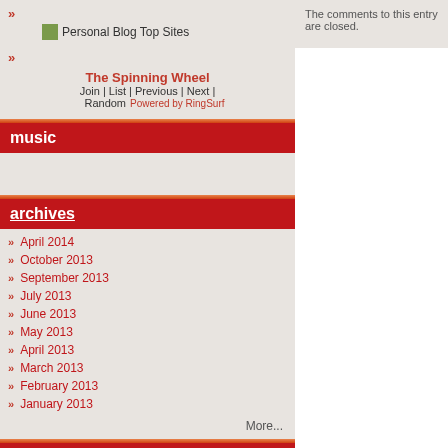» Personal Blog Top Sites
» The Spinning Wheel
Join | List | Previous | Next | Random
Powered by RingSurf
music
archives
» April 2014
» October 2013
» September 2013
» July 2013
» June 2013
» May 2013
» April 2013
» March 2013
» February 2013
» January 2013
More...
tilt reads
Bryce Courtenay: The Potato
The comments to this entry are closed.